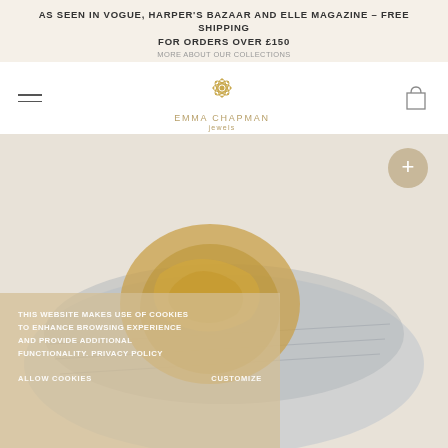AS SEEN IN VOGUE, HARPER'S BAZAAR AND ELLE MAGAZINE – FREE SHIPPING FOR ORDERS OVER £150
[Figure (logo): Emma Chapman Jewels logo with decorative star/mandala icon above the text EMMA CHAPMAN jewels in gold]
[Figure (photo): Close-up photograph of an ornate ring — a wide engraved silver band with a gold sculptural setting featuring a lion or decorative motif on top]
THIS WEBSITE MAKES USE OF COOKIES TO ENHANCE BROWSING EXPERIENCE AND PROVIDE ADDITIONAL FUNCTIONALITY. PRIVACY POLICY
ALLOW COOKIES    CUSTOMIZE